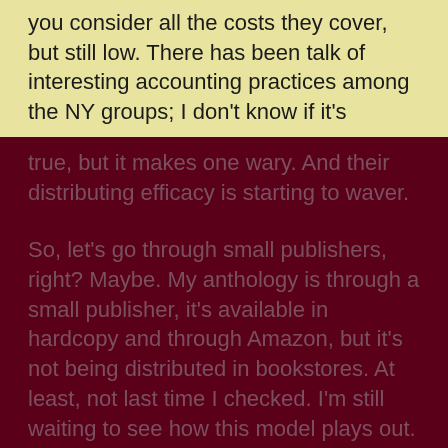you consider all the costs they cover, but still low. There has been talk of interesting accounting practices among the NY groups; I don't know if it's
true, but it makes one wary. And their distributing efficacy is starting to waver.

So, let's go through small publishers, right? Maybe. My anthology is through a small publisher, it's available in hardcopy and through Amazon, but it's not being distributed in bookstores. At least, not last time I checked. I'm still waiting to see how this model plays out. One very important point to note, some small publishers are giving a much larger portion of their sales to their authors. The downturn in sales numbers may very well be offset by that percentage of writer profit. But there are a million small publishers, and while most of them are good, some exist to rip you off, and others are incompetent. Makes me think of trying to find my way through a swamp.

So, let's all self-publish. The author makes all the